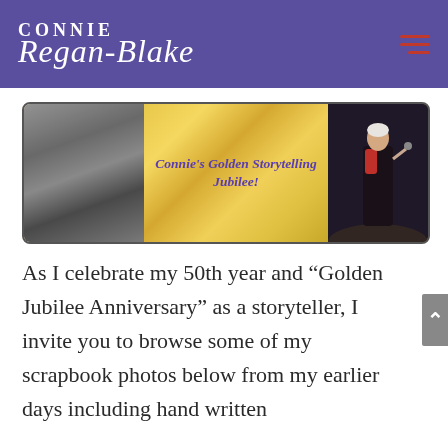Connie Regan-Blake
[Figure (photo): Banner image for Connie's Golden Storytelling Jubilee featuring a young black-and-white photo of Connie on the left, a gold glitter background in the center with the text "Connie's Golden Storytelling Jubilee!", and a color photo of Connie performing on stage on the right.]
As I celebrate my 50th year and “Golden Jubilee Anniversary” as a storyteller, I invite you to browse some of my scrapbook photos below from my earlier days including hand written